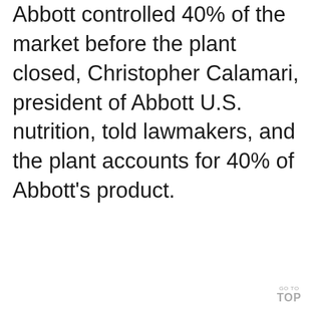Abbott controlled 40% of the market before the plant closed, Christopher Calamari, president of Abbott U.S. nutrition, told lawmakers, and the plant accounts for 40% of Abbott's product.
GO TO TOP